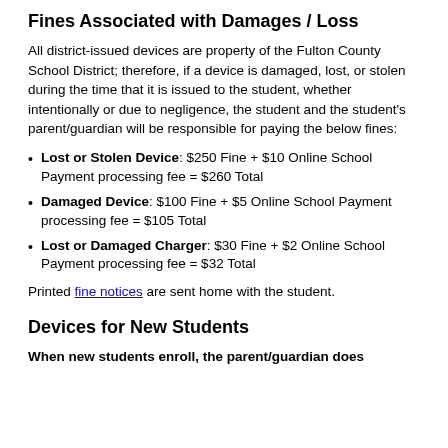Take care of the hinges - even if it can be put in tablet mode, you probably shouldn't because the hinges are super sensitive.
Fines Associated with Damages / Loss
All district-issued devices are property of the Fulton County School District; therefore, if a device is damaged, lost, or stolen during the time that it is issued to the student, whether intentionally or due to negligence, the student and the student's parent/guardian will be responsible for paying the below fines:
Lost or Stolen Device: $250 Fine + $10 Online School Payment processing fee = $260 Total
Damaged Device: $100 Fine + $5 Online School Payment processing fee = $105 Total
Lost or Damaged Charger: $30 Fine + $2 Online School Payment processing fee = $32 Total
Printed fine notices are sent home with the student.
Devices for New Students
When new students enroll, the parent/guardian does